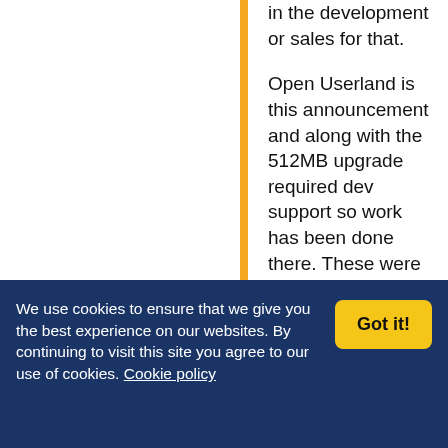in the development or sales for that.
Open Userland is this announcement and along with the 512MB upgrade required dev support so work has been done there. These were the announcements that Liz referred to in previous comments.
From what I understand; Gordon is making progress on the USB driver, Dom is still looking into Turbo
We use cookies to ensure that we give you the best experience on our websites. By continuing to visit this site you agree to our use of cookies. Cookie policy